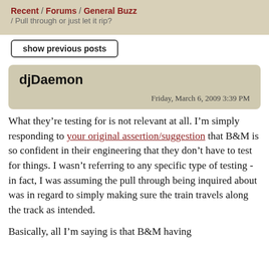Recent / Forums / General Buzz / Pull through or just let it rip?
show previous posts
djDaemon
Friday, March 6, 2009 3:39 PM
What they’re testing for is not relevant at all. I'm simply responding to your original assertion/suggestion that B&M is so confident in their engineering that they don't have to test for things. I wasn’t referring to any specific type of testing - in fact, I was assuming the pull through being inquired about was in regard to simply making sure the train travels along the track as intended.
Basically, all I’m saying is that B&M having